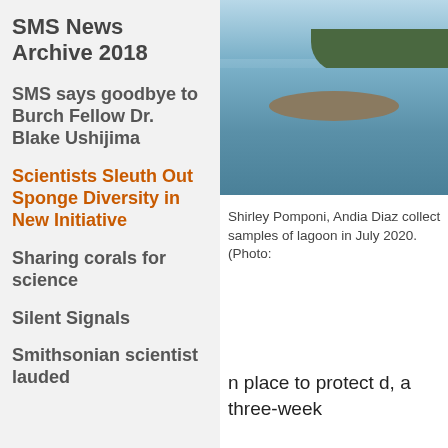SMS News Archive 2018
SMS says goodbye to Burch Fellow Dr. Blake Ushijima
Scientists Sleuth Out Sponge Diversity in New Initiative
Sharing corals for science
Silent Signals
Smithsonian scientist lauded
[Figure (photo): Coastal water scene with a sandy island or shoal in the foreground and a treeline in the background under a blue sky.]
Shirley Pomponi, Andia Diaz collect samples of lagoon in July 2020. (Photo:
n place to protect d, a three-week